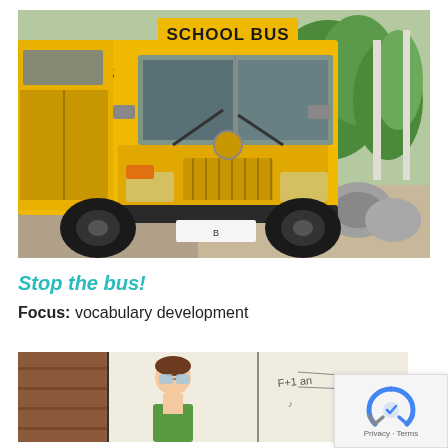[Figure (photo): Front view of a yellow school bus with 'SCHOOL BUS' sign on top, number 5263 visible, parked outdoors with green trees in background]
Stop the bus!
Focus: vocabulary development
[Figure (illustration): Partial view of a children's illustration or drawing showing cartoon characters]